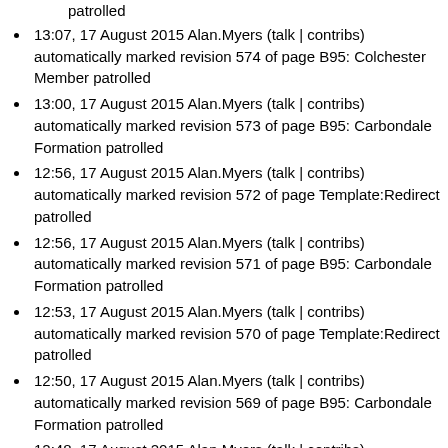patrolled
13:07, 17 August 2015 Alan.Myers (talk | contribs) automatically marked revision 574 of page B95: Colchester Member patrolled
13:00, 17 August 2015 Alan.Myers (talk | contribs) automatically marked revision 573 of page B95: Carbondale Formation patrolled
12:56, 17 August 2015 Alan.Myers (talk | contribs) automatically marked revision 572 of page Template:Redirect patrolled
12:56, 17 August 2015 Alan.Myers (talk | contribs) automatically marked revision 571 of page B95: Carbondale Formation patrolled
12:53, 17 August 2015 Alan.Myers (talk | contribs) automatically marked revision 570 of page Template:Redirect patrolled
12:50, 17 August 2015 Alan.Myers (talk | contribs) automatically marked revision 569 of page B95: Carbondale Formation patrolled
12:48, 17 August 2015 Alan.Myers (talk | contribs) automatically marked revision 568 of page Template:Redirect patrolled
19:10, 14 August 2015 Alan.Myers (talk | contribs) uploaded File:Figure P-3F.jpg (Fig. P-3F. Quartz-pebble conglomerate in